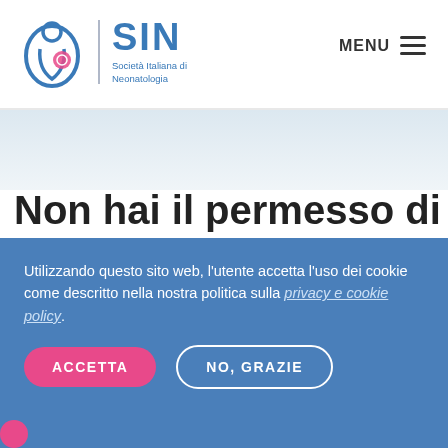[Figure (logo): SIN - Società Italiana di Neonatologia logo with stylized mother and child icon in blue and pink]
MENU ≡
Non hai il permesso di v...
Utilizzando questo sito web, l'utente accetta l'uso dei cookie come descritto nella nostra politica sulla privacy e cookie policy.
ACCETTA   NO, GRAZIE